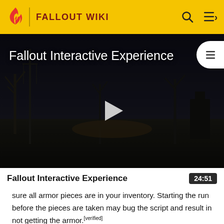FALLOUT WIKI
[Figure (screenshot): Fallout Interactive Experience video thumbnail — dark post-apocalyptic scene with trees and structures, white play button overlay, table-of-contents icon top right]
Fallout Interactive Experience
sure all armor pieces are in your inventory. Starting the run before the pieces are taken may bug the script and result in not getting the armor.[verified]
The ability to navigate the title bar